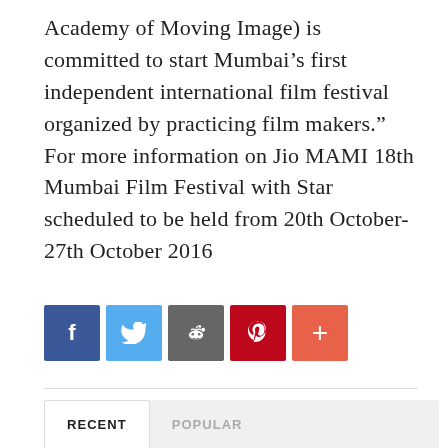Academy of Moving Image) is committed to start Mumbai’s first independent international film festival organized by practicing film makers.” For more information on Jio MAMI 18th Mumbai Film Festival with Star scheduled to be held from 20th October- 27th October 2016
[Figure (infographic): Social sharing buttons row: Facebook (blue), Twitter (light blue), Reddit (gray), Pinterest (red), More/Plus (orange-red)]
RECENT	POPULAR